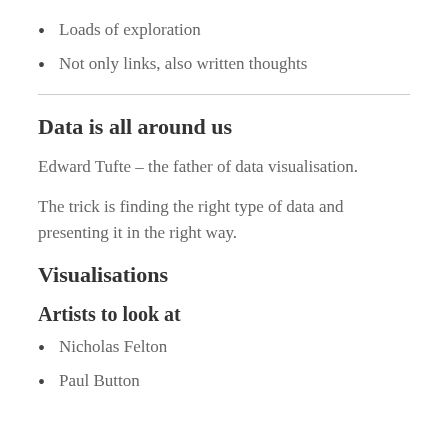Loads of exploration
Not only links, also written thoughts
Data is all around us
Edward Tufte – the father of data visualisation.
The trick is finding the right type of data and presenting it in the right way.
Visualisations
Artists to look at
Nicholas Felton
Paul Button